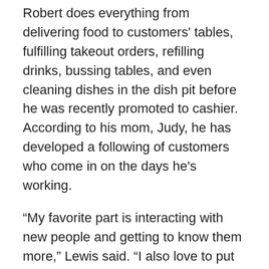Robert does everything from delivering food to customers' tables, fulfilling takeout orders, refilling drinks, bussing tables, and even cleaning dishes in the dish pit before he was recently promoted to cashier. According to his mom, Judy, he has developed a following of customers who come in on the days he's working.
“My favorite part is interacting with new people and getting to know them more,” Lewis said. “I also love to put the orders in and have fun with my customers. I just love the environment there.”
Robert started attending FRA when he was in the fifth grade. His teacher throughout middle school was Mandi Ashley, and in high school both he and Rob had David Dawson, our Heart to Heart director, as their teacher.